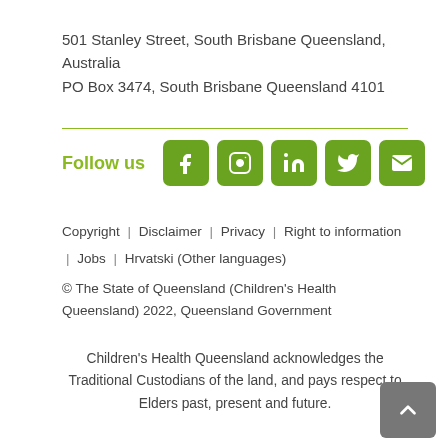501 Stanley Street, South Brisbane Queensland, Australia
PO Box 3474, South Brisbane Queensland 4101
Follow us
Copyright  |  Disclaimer  |  Privacy  |  Right to information  |  Jobs  |  Hrvatski (Other languages)
© The State of Queensland (Children's Health Queensland) 2022, Queensland Government
Children's Health Queensland acknowledges the Traditional Custodians of the land, and pays respect to Elders past, present and future.